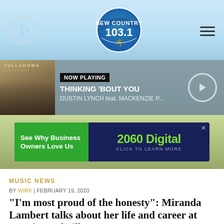[Figure (logo): New Country 103.1 radio station logo with palm tree]
[Figure (infographic): Now Playing bar showing album art for Tullahoma by Dustin Lynch, with song Thinking 'Bout You feat. Mackenzie P...]
[Figure (infographic): Advertisement banner for 2060 Digital: See Why Business Owners Love Us]
MUSIC NEWS
BY WIRK | FEBRUARY 19, 2020
“I’m most proud of the honesty”: Miranda Lambert talks about her life and career at CRS in Nashville